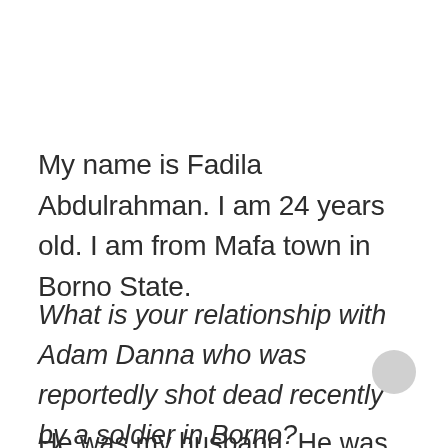My name is Fadila Abdulrahman. I am 24 years old. I am from Mafa town in Borno State.
What is your relationship with Adam Danna who was reportedly shot dead recently by a soldier in Borno?
He was my husband. He was the father...